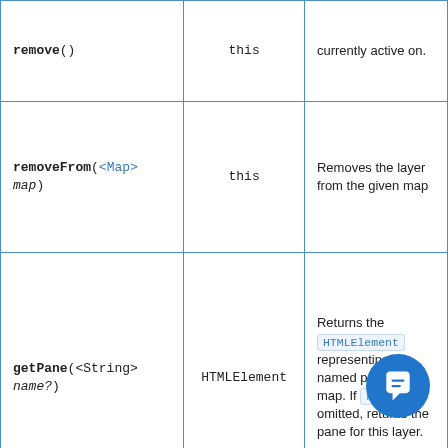| Method | Returns | Description |
| --- | --- | --- |
| remove() | this | …currently active on. |
| removeFrom(<Map> map) | this | Removes the layer from the given map |
| getPane(<String> name?) | HTMLElement | Returns the HTMLElement representing the named pane on the map. If name is omitted, returns the pane for this layer. |